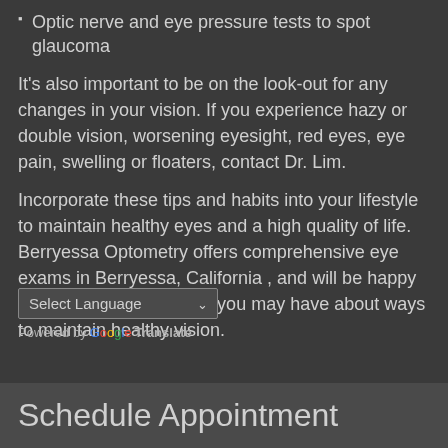Optic nerve and eye pressure tests to spot glaucoma
It's also important to be on the look-out for any changes in your vision. If you experience hazy or double vision, worsening eyesight, red eyes, eye pain, swelling or floaters, contact Dr. Lim.
Incorporate these tips and habits into your lifestyle to maintain healthy eyes and a high quality of life. Berryessa Optometry offers comprehensive eye exams in Berryessa, California , and will be happy to answer any questions you may have about ways to maintain healthy vision.
Select Language
Powered by Google Translate
Schedule Appointment